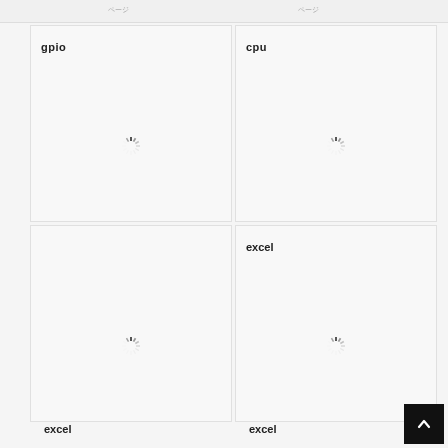gpio ページ
ページ
gpio
[Figure (other): Loading spinner icon in center of top-left grid cell]
cpu
[Figure (other): Loading spinner icon in center of top-right grid cell]
[Figure (other): Loading spinner icon in center of middle-left grid cell]
excel
[Figure (other): Loading spinner icon in center of middle-right grid cell]
excel
excel